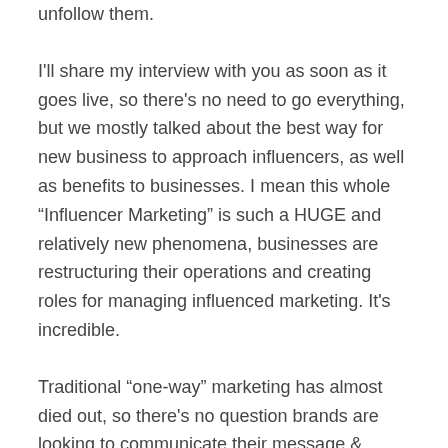unfollow them.
I'll share my interview with you as soon as it goes live, so there's no need to go everything, but we mostly talked about the best way for new business to approach influencers, as well as benefits to businesses. I mean this whole “Influencer Marketing” is such a HUGE and relatively new phenomena, businesses are restructuring their operations and creating roles for managing influenced marketing. It's incredible.
Traditional “one-way” marketing has almost died out, so there's no question brands are looking to communicate their message & product via influencers. We’re all about a two-way conversation with you guys building relationships, trust and communities. Brands want access to that. But how do YOU, as a user / follower feel about that? Are you sceptical because it's relatively new? Traditional advertising on tv, billboards and magazines is all about